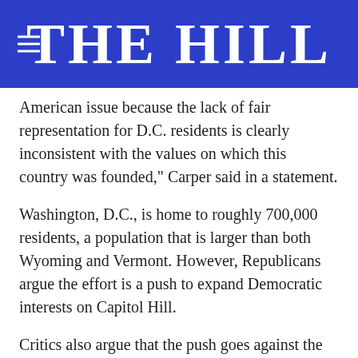THE HILL
American issue because the lack of fair representation for D.C. residents is clearly inconsistent with the values on which this country was founded," Carper said in a statement.
Washington, D.C., is home to roughly 700,000 residents, a population that is larger than both Wyoming and Vermont. However, Republicans argue the effort is a push to expand Democratic interests on Capitol Hill.
Critics also argue that the push goes against the 23rd Amendment, which gives D.C. residents the right to vote in presidential elections, but gives them as much